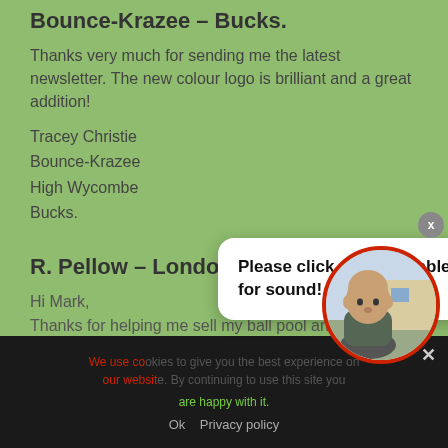Bounce-Krazee – Bucks.
Thanks very much for sending me the latest newsletter. The new colour logo is brilliant and a great addition!
Tracey Christie
Bounce-Krazee
High Wycombe
Bucks.
R. Pellow – London
Hi Mark,
Thanks for helping me sell my ball pool and blower. I really appreciate your help and service."
R. Pellow.
London.
Please click on the bubble for sound!
We use co... our website... are happy with it.
Ok   Privacy policy